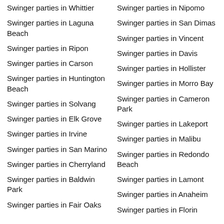Swinger parties in Whittier
Swinger parties in Laguna Beach
Swinger parties in Ripon
Swinger parties in Carson
Swinger parties in Huntington Beach
Swinger parties in Solvang
Swinger parties in Elk Grove
Swinger parties in Irvine
Swinger parties in San Marino
Swinger parties in Cherryland
Swinger parties in Baldwin Park
Swinger parties in Fair Oaks
Swinger parties in Nipomo
Swinger parties in San Dimas
Swinger parties in Vincent
Swinger parties in Davis
Swinger parties in Hollister
Swinger parties in Morro Bay
Swinger parties in Cameron Park
Swinger parties in Lakeport
Swinger parties in Malibu
Swinger parties in Redondo Beach
Swinger parties in Lamont
Swinger parties in Anaheim
Swinger parties in Florin